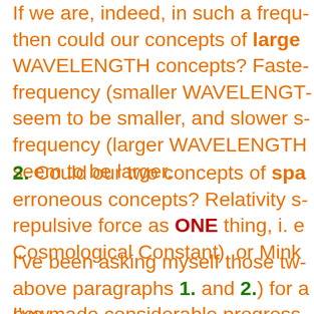If we are, indeed, in such a frequency, then could our concepts of large WAVELENGTH concepts? Faster frequency (smaller WAVELENGTH) seem to be smaller, and slower frequency (larger WAVELENGTH) seem to be larger.
2. Could our two concepts of space be erroneous concepts? Relativity sees repulsive force as ONE thing, i. e. Cosmological Constant), or Minkowski
I've been asking myself those two (above paragraphs 1. and 2.) for a now.
I've made considerable progress